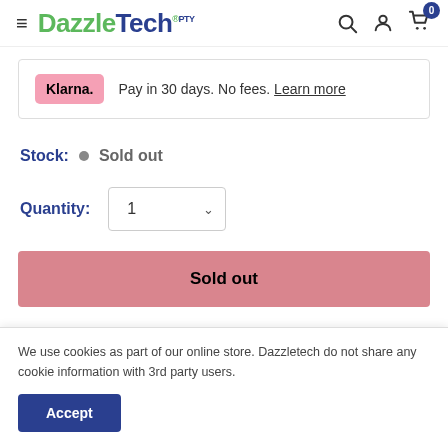DazzleTech PTY
Klarna. Pay in 30 days. No fees. Learn more
Stock: Sold out
Quantity: 1
Sold out
We use cookies as part of our online store. Dazzletech do not share any cookie information with 3rd party users.
Accept